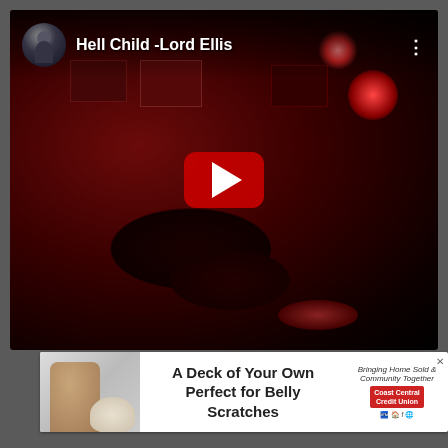[Figure (screenshot): YouTube video thumbnail showing a dark red-lit music venue/studio scene with drum kit visible. Title bar shows 'Hell Child -Lord Ellis' with a circular avatar icon and three-dot menu. A YouTube play button overlay is centered on the video.]
[Figure (screenshot): Advertisement banner for Coast Central Credit Union with text 'A Deck of Your Own Perfect for Belly Scratches', showing a person with a dog on the left side and the Coast Central Credit Union logo on the right.]